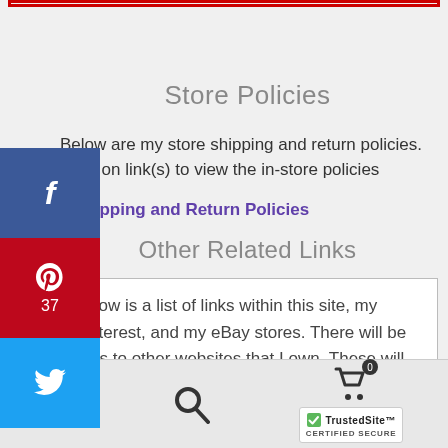Store Policies
Below are my store shipping and return policies. Click on link(s) to view the in-store policies
Shipping and Return Policies
Other Related Links
Below is a list of links within this site, my Pinterest, and my eBay stores. There will be links to other websites that I own. These will be
[Figure (screenshot): Social media share sidebar with Facebook, Pinterest (37 pins), and Twitter buttons on the left side]
[Figure (infographic): Bottom navigation bar with user icon, search icon, cart icon with badge 0, and TrustedSite certified secure badge]